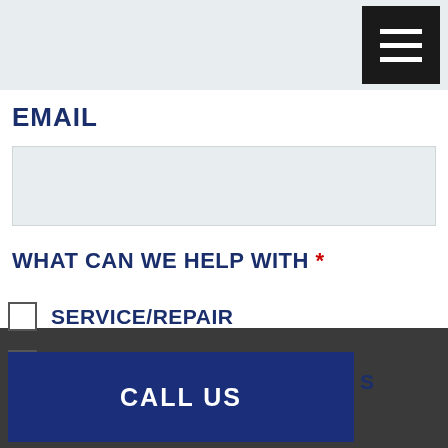[Figure (screenshot): Navigation header bar with hamburger menu icon (three white lines on black square background) on a light gray bar]
EMAIL
[Figure (screenshot): Email text input field with light gray background]
WHAT CAN WE HELP WITH *
SERVICE/REPAIR
GEOTHERMAL
[Figure (screenshot): CALL US dark blue button overlaying partial content]
CLEANING/MAINTENANCE
[Figure (screenshot): CONTACT US orange button]
GAS FURNACE (partial, cut off)